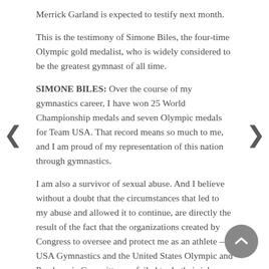Merrick Garland is expected to testify next month.
This is the testimony of Simone Biles, the four-time Olympic gold medalist, who is widely considered to be the greatest gymnast of all time.
SIMONE BILES: Over the course of my gymnastics career, I have won 25 World Championship medals and seven Olympic medals for Team USA. That record means so much to me, and I am proud of my representation of this nation through gymnastics.
I am also a survivor of sexual abuse. And I believe without a doubt that the circumstances that led to my abuse and allowed it to continue, are directly the result of the fact that the organizations created by Congress to oversee and protect me as an athlete — USA Gymnastics and the United States Olympic and Paralympic Committee — failed to do their jobs.